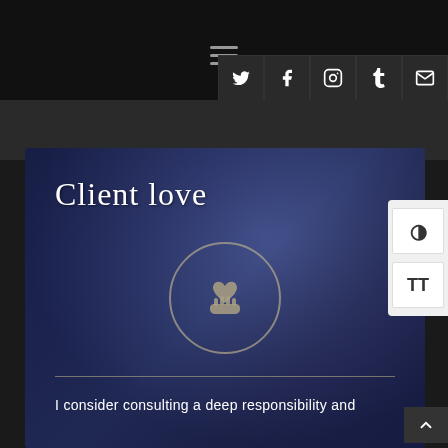≡ (hamburger menu)
[Figure (infographic): Social media icon buttons: Twitter, Facebook, Instagram, Tumblr, Email — white icons on dark background]
[Figure (illustration): Client Love section with cursive title text 'Client love', a circular icon containing a hand holding a heart, a gold horizontal divider line, and partial text 'I consider consulting a deep responsibility and' on a dark blue/navy background. Accessibility widget with contrast and text size buttons is overlaid on the right.]
I consider consulting a deep responsibility and